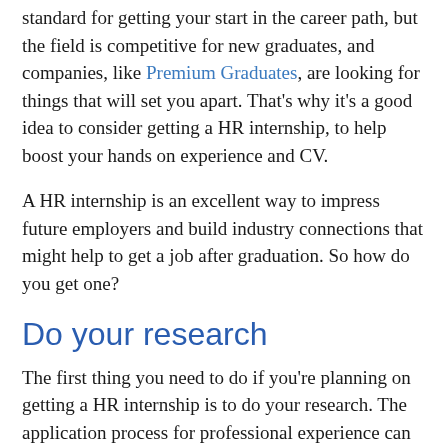standard for getting your start in the career path, but the field is competitive for new graduates, and companies, like Premium Graduates, are looking for things that will set you apart. That's why it's a good idea to consider getting a HR internship, to help boost your hands on experience and CV.
A HR internship is an excellent way to impress future employers and build industry connections that might help to get a job after graduation. So how do you get one?
Do your research
The first thing you need to do if you're planning on getting a HR internship is to do your research. The application process for professional experience can